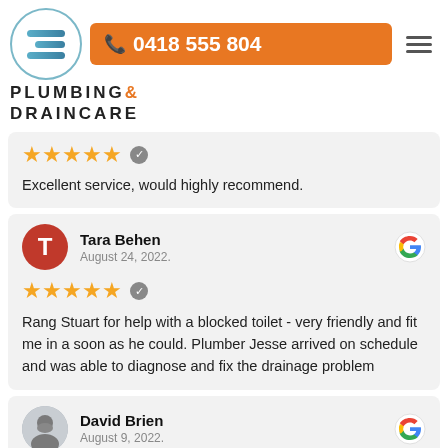[Figure (logo): Plumbing & Draincare circular logo with horizontal lines in blue/teal gradient]
[Figure (other): Orange phone button showing 0418 555 804 with phone icon]
PLUMBING & DRAINCARE
Excellent service, would highly recommend.
Tara Behen
August 24, 2022.
★★★★★
Rang Stuart for help with a blocked toilet - very friendly and fit me in a soon as he could. Plumber Jesse arrived on schedule and was able to diagnose and fix the drainage problem
David Brien
August 9, 2022.